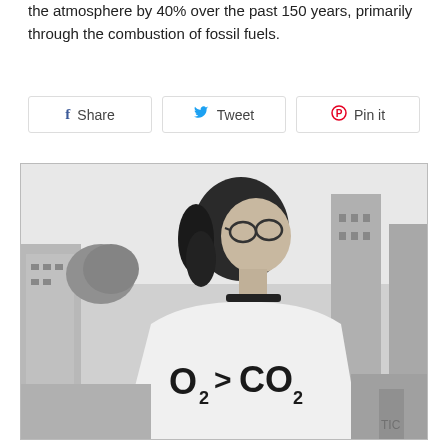the atmosphere by 40% over the past 150 years, primarily through the combustion of fossil fuels.
[Figure (other): Social sharing buttons: Facebook Share, Twitter Tweet, Pinterest Pin it]
[Figure (photo): Black and white photograph of a person with long hair and round sunglasses, wearing a white sleeveless shirt with text 'O2>CO2' (with subscript 2s), against an urban background with buildings.]